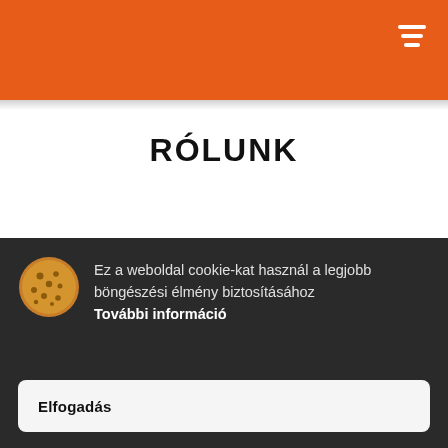RÓLUNK
THE BAMBA STORY
Ez a weboldal cookie-kat használ a legjobb böngészési élmény biztosításához További információ
Elfogadás